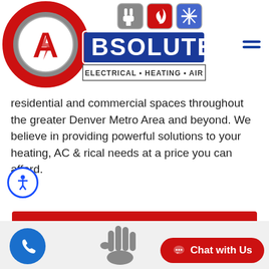[Figure (logo): Absolute Electrical Heating Air company logo with red circular A icon and blue BSOLUTE text banner, with electrical/heating/air service icons]
residential and commercial spaces throughout the greater Denver Metro Area and beyond. We believe in providing powerful solutions to your heating, AC & rical needs at a price you can afford.
SCHEDULE SERVICE NOW!
[Figure (illustration): Phone call button (blue circle), cartoon hand waving, and Chat with Us red button at bottom of page]